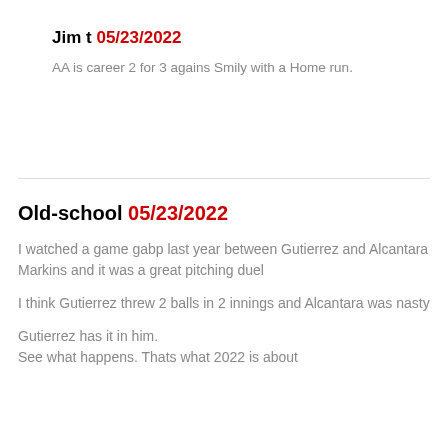Jim t 05/23/2022
AA is career 2 for 3 agains Smily with a Home run.
Old-school 05/23/2022
I watched a game gabp last year between Gutierrez and Alcantara Markins and it was a great pitching duel
I think Gutierrez threw 2 balls in 2 innings and Alcantara was nasty
Gutierrez has it in him.
See what happens. Thats what 2022 is about